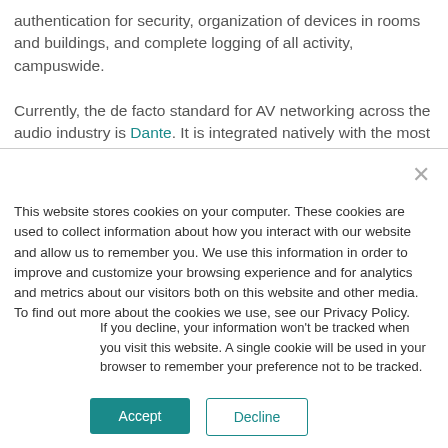authentication for security, organization of devices in rooms and buildings, and complete logging of all activity, campuswide.

Currently, the de facto standard for AV networking across the audio industry is Dante. It is integrated natively with the most
This website stores cookies on your computer. These cookies are used to collect information about how you interact with our website and allow us to remember you. We use this information in order to improve and customize your browsing experience and for analytics and metrics about our visitors both on this website and other media. To find out more about the cookies we use, see our Privacy Policy.
If you decline, your information won't be tracked when you visit this website. A single cookie will be used in your browser to remember your preference not to be tracked.